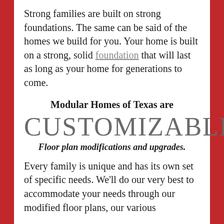Strong families are built on strong foundations. The same can be said of the homes we build for you. Your home is built on a strong, solid foundation that will last as long as your home for generations to come.
Modular Homes of Texas are
CUSTOMIZABLE
Floor plan modifications and upgrades.
Every family is unique and has its own set of specific needs. We'll do our very best to accommodate your needs through our modified floor plans, our various